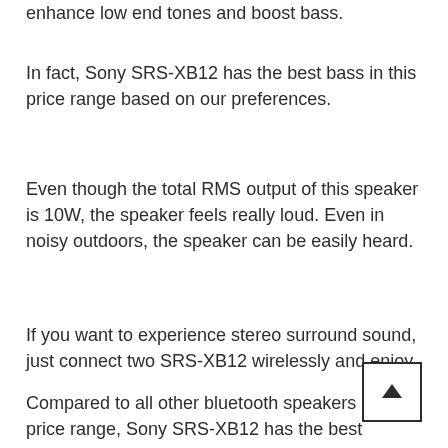enhance low end tones and boost bass.
In fact, Sony SRS-XB12 has the best bass in this price range based on our preferences.
Even though the total RMS output of this speaker is 10W, the speaker feels really loud. Even in noisy outdoors, the speaker can be easily heard.
If you want to experience stereo surround sound, just connect two SRS-XB12 wirelessly and enjoy.
Compared to all other bluetooth speakers in this price range, Sony SRS-XB12 has the best